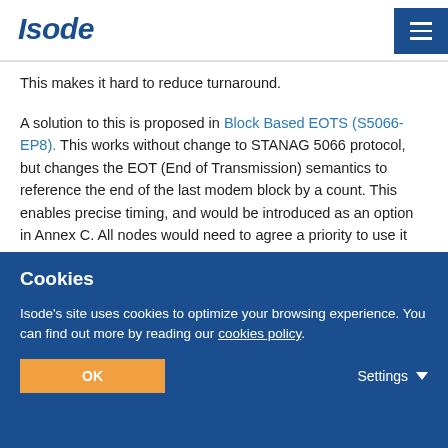Isode
This makes it hard to reduce turnaround.
A solution to this is proposed in Block Based EOTS (S5066-EP8). This works without change to STANAG 5066 protocol, but changes the EOT (End of Transmission) semantics to reference the end of the last modem block by a count. This enables precise timing, and would be introduced as an option in Annex C. All nodes would need to agree a priority to use it (as they do for other parameters such as ALE version and waveform).
Isode strongly recommends this enhancement, as the performance benefits are significant.
Cookies
Isode's site uses cookies to optimize your browsing experience. You can find out more by reading our cookies policy.